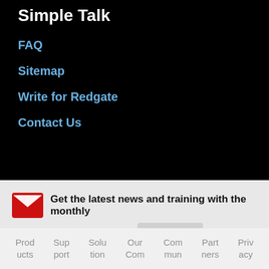Simple Talk
FAQ
Sitemap
Write for Redgate
Contact Us
Get the latest news and training with the monthly Redgate Update  Sign up
Products  Support  Solutions  Our Com  Community  Partners  Privacy